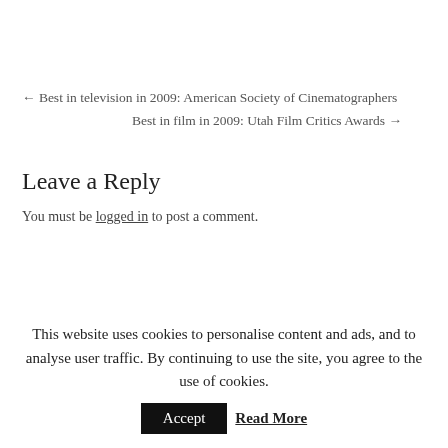← Best in television in 2009: American Society of Cinematographers
Best in film in 2009: Utah Film Critics Awards →
Leave a Reply
You must be logged in to post a comment.
This website uses cookies to personalise content and ads, and to analyse user traffic. By continuing to use the site, you agree to the use of cookies.